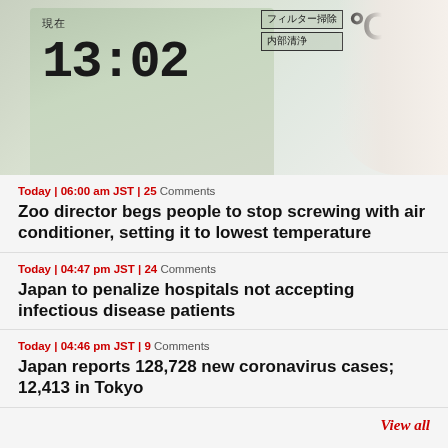[Figure (photo): Close-up photo of a Japanese air conditioner remote control LCD display showing time 13:02, with kanji text including 現在 (current), フィルター掃除 (filter cleaning), 内部清浄 (internal cleaning), and a Celsius symbol.]
Today | 06:00 am JST | 25 Comments
Zoo director begs people to stop screwing with air conditioner, setting it to lowest temperature
Today | 04:47 pm JST | 24 Comments
Japan to penalize hospitals not accepting infectious disease patients
Today | 04:46 pm JST | 9 Comments
Japan reports 128,728 new coronavirus cases; 12,413 in Tokyo
View all